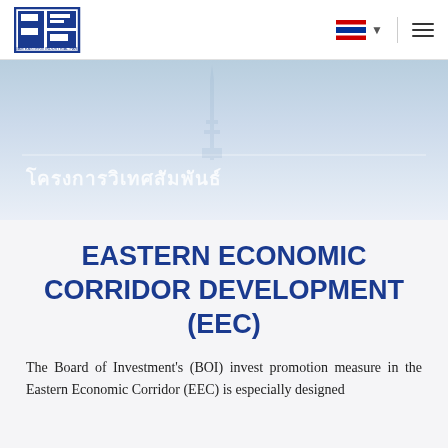[Figure (logo): SEP (Siam Eastern Industrial Park) logo — blue square with stylized S, E, P letters and text below]
[Figure (infographic): Hero banner with light blue gradient background, Thai script text overlay, faint horizontal divider line, and a faint tower/monument silhouette]
EASTERN ECONOMIC CORRIDOR DEVELOPMENT (EEC)
The Board of Investment's (BOI) invest promotion measure in the Eastern Economic Corridor (EEC) is especially designed